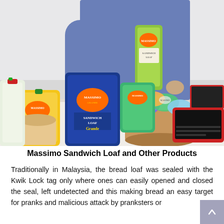[Figure (photo): A person in a blue shirt holding up a Massimo bread product, surrounded by various Massimo bread packages and other baked goods on a table, with a red laptop and a wooden bowl filled with packaged items visible in the background.]
Massimo Sandwich Loaf and Other Products
Traditionally in Malaysia, the bread loaf was sealed with the Kwik Lock tag only where ones can easily opened and closed the seal, left undetected and this making bread an easy target for pranks and malicious attack by pranksters or